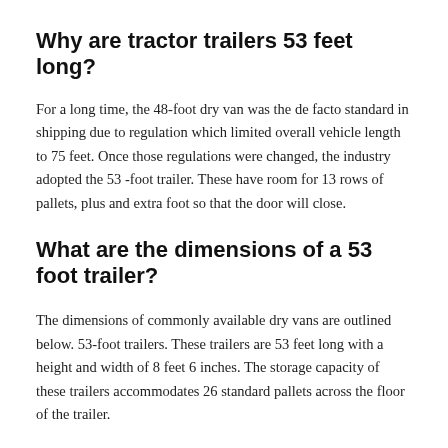Why are tractor trailers 53 feet long?
For a long time, the 48-foot dry van was the de facto standard in shipping due to regulation which limited overall vehicle length to 75 feet. Once those regulations were changed, the industry adopted the 53 -foot trailer. These have room for 13 rows of pallets, plus and extra foot so that the door will close.
What are the dimensions of a 53 foot trailer?
The dimensions of commonly available dry vans are outlined below. 53-foot trailers. These trailers are 53 feet long with a height and width of 8 feet 6 inches. The storage capacity of these trailers accommodates 26 standard pallets across the floor of the trailer.